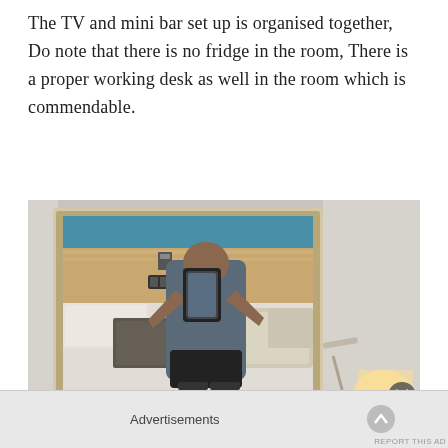The TV and mini bar set up is organised together, Do note that there is no fridge in the room, There is a proper working desk as well in the room which is commendable.
[Figure (photo): A person taking a mirror selfie in a hotel room. The mirror shows the person holding a phone, with a hotel bed, headboard, bedside table, and lamp visible in the reflection. Outside the mirror frame, a lamp is visible on the right side.]
Advertisements